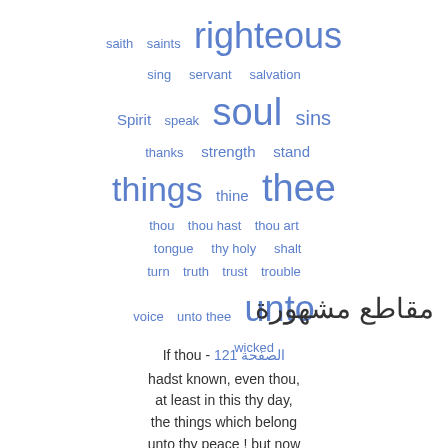[Figure (infographic): Word cloud in blue with various biblical/religious words in different font sizes: saith, saints, righteous, sing, servant, salvation, Spirit, speak, soul, sins, thanks, strength, stand, things, thine, thee, thou, thou hast, thou art, tongue, thy holy, shalt, turn, truth, trust, trouble, voice, unto thee, unto, wicked]
مقاطع مشهورة
If thou - الصفحة 121
hadst known, even thou, at least in this thy day, the things which belong unto thy peace ! but now they are hid from thine eyes. For the days shall